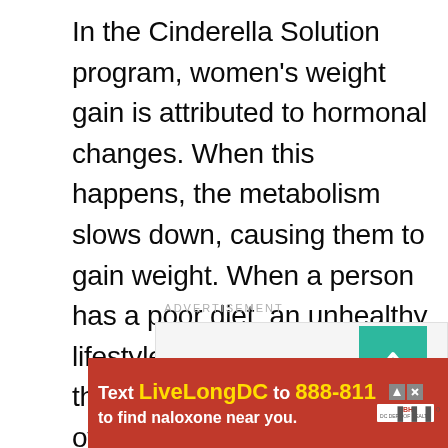In the Cinderella Solution program, women's weight gain is attributed to hormonal changes. When this happens, the metabolism slows down, causing them to gain weight. When a person has a poor diet, an unhealthy lifestyle, and genetic factors, the risk of becoming overweight or obese is inevitable.
ADVERTISEMENT
[Figure (screenshot): Advertisement area with scroll-to-top button (teal/green square with upward arrow)]
[Figure (screenshot): Banner advertisement: Text LiveLongDC to 888-811 to find naloxone near you. Red background with DBH logo and ad choice icons.]